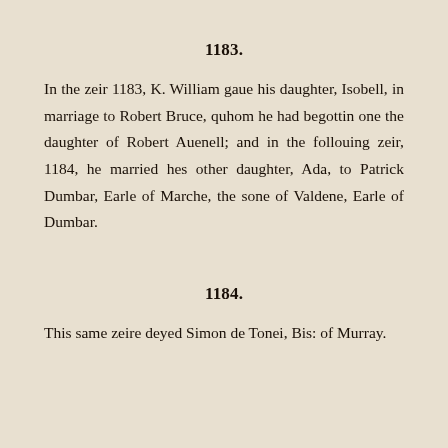1183.
In the zeir 1183, K. William gaue his daughter, Isobell, in marriage to Robert Bruce, quhom he had begottin one the daughter of Robert Auenell; and in the follouing zeir, 1184, he married hes other daughter, Ada, to Patrick Dumbar, Earle of Marche, the sone of Valdene, Earle of Dumbar.
1184.
This same zeire deyed Simon de Tonei, Bis: of Murray.